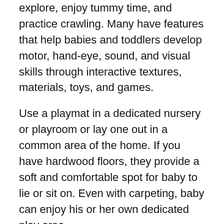explore, enjoy tummy time, and practice crawling. Many have features that help babies and toddlers develop motor, hand-eye, sound, and visual skills through interactive textures, materials, toys, and games.
Use a playmat in a dedicated nursery or playroom or lay one out in a common area of the home. If you have hardwood floors, they provide a soft and comfortable spot for baby to lie or sit on. Even with carpeting, baby can enjoy his or her own dedicated play area.
What types of playmats are available?
Some playmats appeal to babies as young as one month old, and others are designed for toddlers aged 3 and up.
They come in square, rectangular, and circular